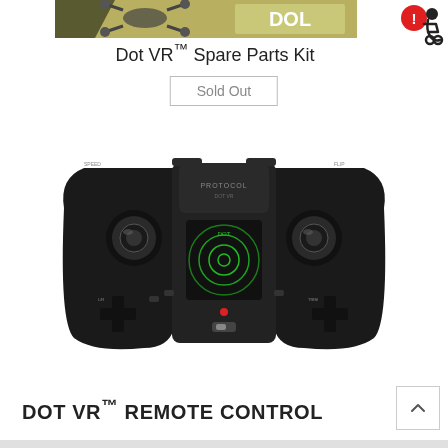[Figure (photo): Top banner showing Dot VR drone spare parts kit product banner image, partially cropped at top]
[Figure (logo): Red accessibility/warning icon badge in top right corner]
Dot VR™ Spare Parts Kit
Sold Out
[Figure (photo): Black Protocol Dot VR remote control / gamepad-style controller with two joystick thumbsticks, a d-pad on each side, a centered display with green concentric circle target graphic, a red LED indicator light, and the PROTOCOL brand name printed on the center section]
DOT VR™ REMOTE CONTROL